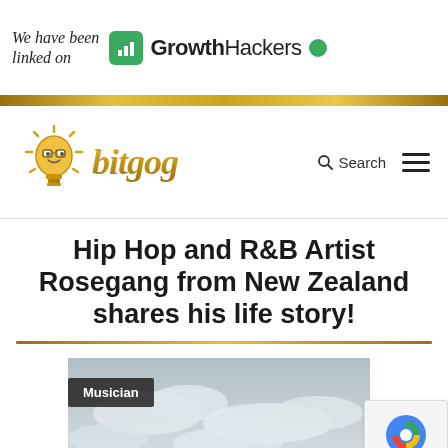We have been linked on | GrowthHackers
[Figure (logo): Bitgog website logo with lightbulb mascot wearing glasses and golden italic bitgog wordmark]
Hip Hop and R&B Artist Rosegang from New Zealand shares his life story!
[Figure (photo): Sky with clouds, article featured image with Musician category badge]
[Figure (other): reCAPTCHA widget with Privacy - Terms text]